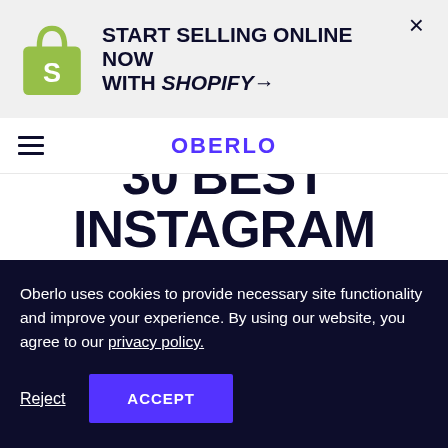[Figure (logo): Shopify bag logo with green shopping bag and white S]
START SELLING ONLINE NOW WITH SHOPIFY→
OBERLO
30 BEST INSTAGRAM ACCOUNTS TO FOLLOW IN 2021
Oberlo uses cookies to provide necessary site functionality and improve your experience. By using our website, you agree to our privacy policy.
Reject
ACCEPT